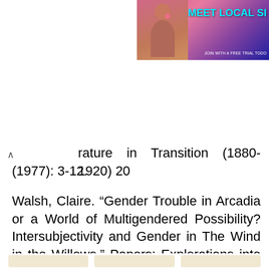[Figure (photo): Advertisement banner at top right showing a woman and text 'MEET LOCAL SI' with 'JOIN WITH A FREE TRIAL TODO' in a pink/purple gradient background]
rature in Transition (1880-1920) 20 (1977): 3-12.
Walsh, Claire. “Gender Trouble in Arcadia or a World of Multigendered Possibility? Intersubjectivity and Gender in The Wind in the Willows.” Papers: Explorations into Children’s Literature 16, no. 2 (2006): 162-67.